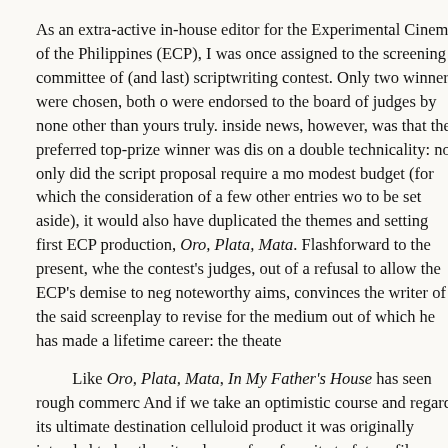As an extra-active in-house editor for the Experimental Cinema of the Philippines (ECP), I was once assigned to the screening committee of the (and last) scriptwriting contest. Only two winners were chosen, both of were endorsed to the board of judges by none other than yours truly. inside news, however, was that the preferred top-prize winner was dis on a double technicality: not only did the script proposal require a mo modest budget (for which the consideration of a few other entries wo to be set aside), it would also have duplicated the themes and setting first ECP production, Oro, Plata, Mata. Flashforward to the present, wh the contest's judges, out of a refusal to allow the ECP's demise to ne noteworthy aims, convinces the writer of the said screenplay to revise for the medium out of which he has made a lifetime career: the theat
Like Oro, Plata, Mata, In My Father's House has seen rough commerc And if we take an optimistic course and regard its ultimate destination celluloid product it was originally intended to be, then its odyssey fro favorite to future film product through the legitimate stage may well b the most unusual transitions in contemporary local culture. To be sure Father's House stands several cuts above the disturbing succession of plays that actually aim for ultimate preservation on film (or even just v television). Our local playwriting contests have much to answer for in t works are judged according to how they read, not how they may be pe and in several depressing instances writers who employed misapprop cinematic techniques tended to impress their respective jurors, who s